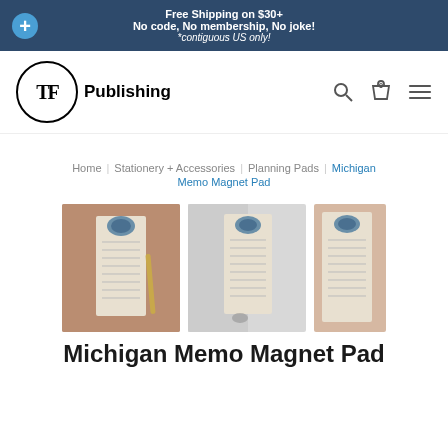Free Shipping on $30+
No code, No membership, No joke!
*contiguous US only!
[Figure (logo): TF Publishing logo with circular border and 'Publishing' text]
Home | Stationery + Accessories | Planning Pads | Michigan Memo Magnet Pad
[Figure (photo): Three product photos of the Michigan Memo Magnet Pad showing the notepad on a wooden surface, on a metallic surface, and close-up view]
Michigan Memo Magnet Pad